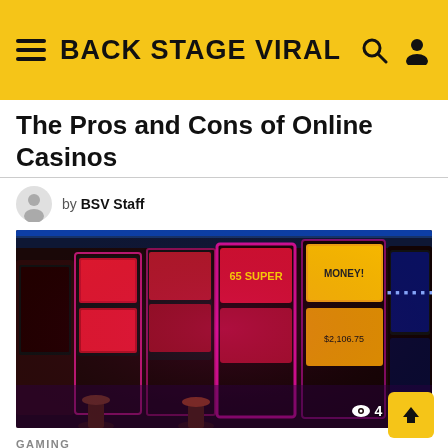BACK STAGE VIRAL
The Pros and Cons of Online Casinos
by BSV Staff
[Figure (photo): Row of colorful slot machines in a casino with neon pink and blue lighting. View counts: 4, share counts: 0.]
GAMING
Types of bonuses that can be used